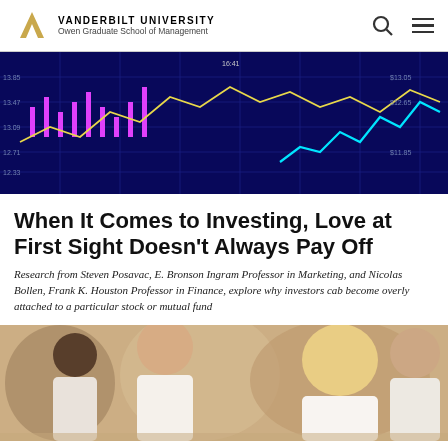VANDERBILT UNIVERSITY Owen Graduate School of Management
[Figure (photo): Stock market data chart displayed on a blue digital screen with candlestick and line charts in pink, yellow, cyan and white]
When It Comes to Investing, Love at First Sight Doesn't Always Pay Off
Research from Steven Posavac, E. Bronson Ingram Professor in Marketing, and Nicolas Bollen, Frank K. Houston Professor in Finance, explore why investors cab become overly attached to a particular stock or mutual fund
[Figure (photo): Students sitting in a classroom lecture hall, several women visible in the foreground and background]